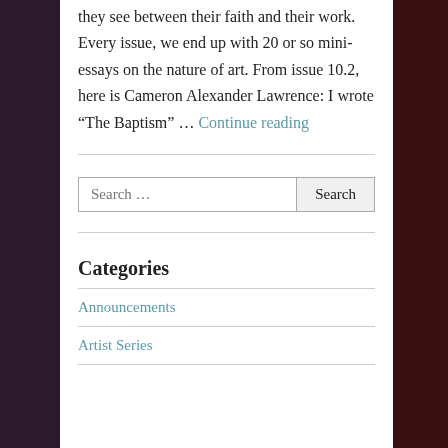they see between their faith and their work. Every issue, we end up with 20 or so mini-essays on the nature of art. From issue 10.2, here is Cameron Alexander Lawrence: I wrote “The Baptism” … Continue reading
Search …
Categories
Announcements
Artist Series